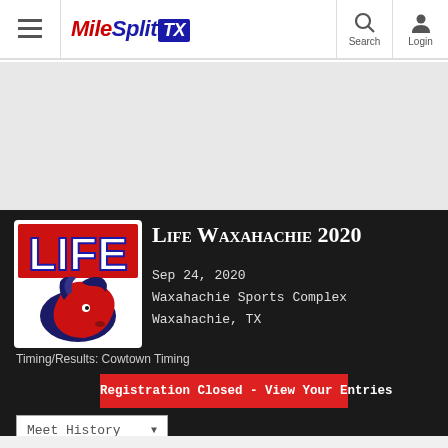MileSplit TX — Search | Login
[Figure (logo): LIFE Waxahachie mustang mascot logo — red LIFE letters with navy mustang horse head]
Life Waxahachie 2020
Sep 24, 2020
Waxahachie Sports Complex
Waxahachie, TX
Timing/Results: Cowtown Timing
Registration Closed - View Your Entries
Meet History